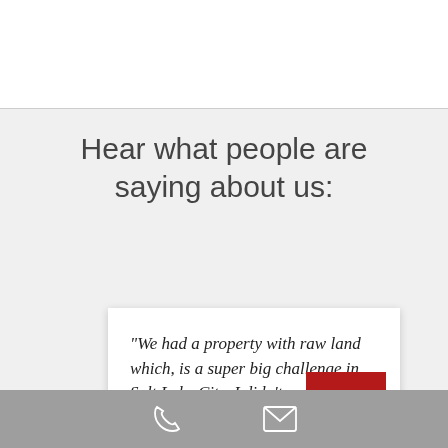Hear what people are saying about us:
“We had a property with raw land which, is a super big challenge in Salt Lake City. I didn’t want to put a lien on my house or anything so Scott helped